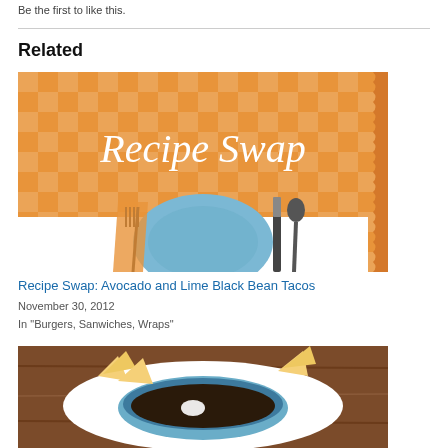Be the first to like this.
Related
[Figure (illustration): Recipe Swap illustration with orange checkered tablecloth background, blue plate, fork, knife, and spoon in cartoon style, with 'Recipe Swap' text in white cursive font]
Recipe Swap: Avocado and Lime Black Bean Tacos
November 30, 2012
In "Burgers, Sanwiches, Wraps"
[Figure (photo): Photo of black bean dip in a blue bowl with tortilla chips on a white plate on a wooden table]